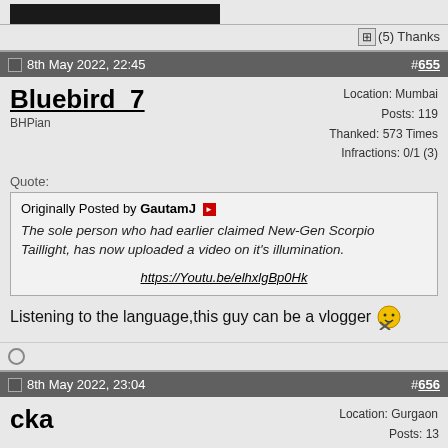[Figure (screenshot): Top black image bar (partial, cropped from previous post)]
⊞(5) Thanks
8th May 2022, 22:45   #655
Bluebird_7
BHPian
Location: Mumbai
Posts: 119
Thanked: 573 Times
Infractions: 0/1 (3)
Quote:
Originally Posted by GautamJ
The sole person who had earlier claimed New-Gen Scorpio Taillight, has now uploaded a video on it's illumination.
https://Youtu.be/elhxlgBp0Hk
Listening to the language,this guy can be a vlogger 😊
8th May 2022, 23:04   #656
cka
Location: Gurgaon
Posts: 13